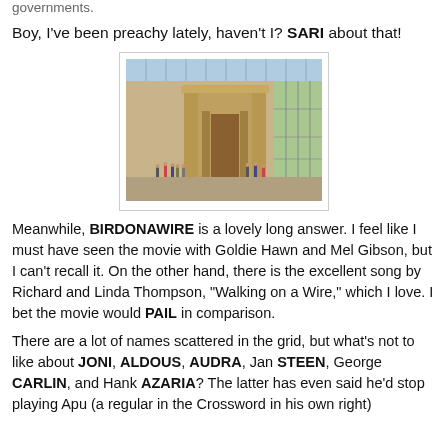governments.
Boy, I've been preachy lately, haven't I? SARI about that!
[Figure (photo): Interior of a museum displaying an ancient Egyptian temple with large stone columns and pylons, visitors visible in the foreground, large glass ceiling and windows in the background.]
Meanwhile, BIRDONAWIRE is a lovely long answer. I feel like I must have seen the movie with Goldie Hawn and Mel Gibson, but I can't recall it. On the other hand, there is the excellent song by Richard and Linda Thompson, "Walking on a Wire," which I love. I bet the movie would PAIL in comparison.
There are a lot of names scattered in the grid, but what's not to like about JONI, ALDOUS, AUDRA, Jan STEEN, George CARLIN, and Hank AZARIA? The latter has even said he'd stop playing Apu (a regular in the Crossword in his own right)